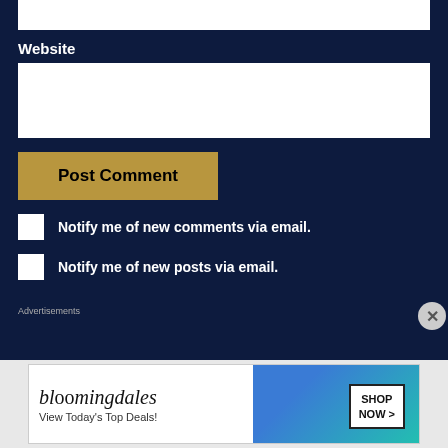Website
[Figure (screenshot): White input text field for website URL]
[Figure (screenshot): Gold/tan 'Post Comment' button]
Notify me of new comments via email.
Notify me of new posts via email.
Advertisements
[Figure (photo): Bloomingdale's advertisement banner showing a woman in a hat with 'View Today's Top Deals!' text and 'SHOP NOW >' button]